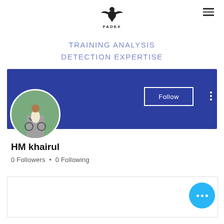[Figure (logo): FADEX eagle logo with text FADEX below]
TRAINING ANALYSIS
DETECTION EXPERTISE
[Figure (screenshot): Social media profile card with blue banner, profile photo, Follow button, HM khairul name, 0 Followers • 0 Following stats, and a bottom card with floating action button]